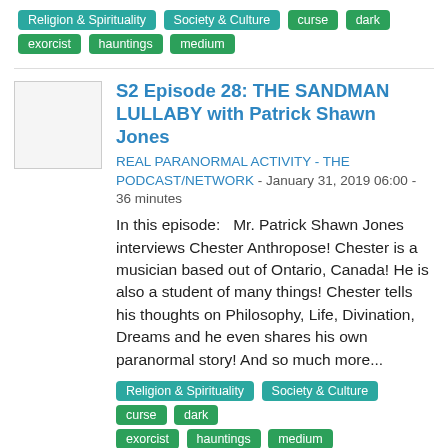Religion & Spirituality  Society & Culture  curse  dark  exorcist  hauntings  medium
S2 Episode 28: THE SANDMAN LULLABY with Patrick Shawn Jones
REAL PARANORMAL ACTIVITY - THE PODCAST/NETWORK - January 31, 2019 06:00 - 36 minutes
In this episode:   Mr. Patrick Shawn Jones interviews Chester Anthropose! Chester is a musician based out of Ontario, Canada! He is also a student of many things! Chester tells his thoughts on Philosophy, Life, Divination, Dreams and he even shares his own paranormal story! And so much more...
Religion & Spirituality  Society & Culture  curse  dark  exorcist  hauntings  medium
S1 Episode 27: THE SANDMAN LULLABY with Patrick Shawn Jones